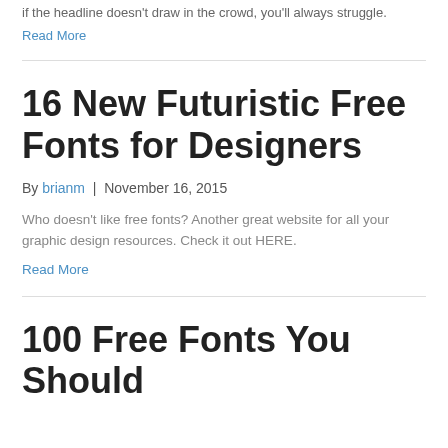if the headline doesn't draw in the crowd, you'll always struggle.
Read More
16 New Futuristic Free Fonts for Designers
By brianm | November 16, 2015
Who doesn't like free fonts? Another great website for all your graphic design resources. Check it out HERE.
Read More
100 Free Fonts You Should